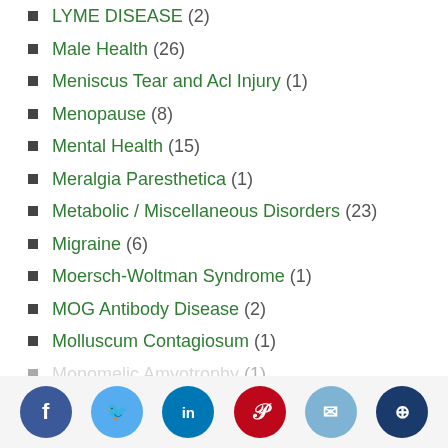LYME DISEASE (2)
Male Health (26)
Meniscus Tear and Acl Injury (1)
Menopause (8)
Mental Health (15)
Meralgia Paresthetica (1)
Metabolic / Miscellaneous Disorders (23)
Migraine (6)
Moersch-Woltman Syndrome (1)
MOG Antibody Disease (2)
Molluscum Contagiosum (1)
Monomelic Amyotrophy (1)